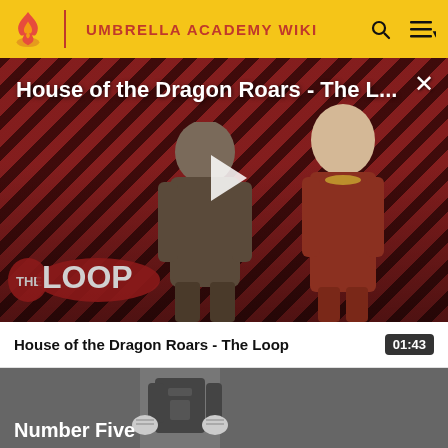UMBRELLA ACADEMY WIKI
[Figure (screenshot): Video player showing 'House of the Dragon Roars - The L...' with a diagonal red/dark stripe background, two characters visible, a play button in the center, and 'THE LOOP' logo in the lower left. A close (X) button is in the upper right.]
House of the Dragon Roars - The Loop
[Figure (screenshot): Thumbnail of a second video showing a comic-style illustration of a character, partially visible, with 'Number Five' text overlay at the bottom left.]